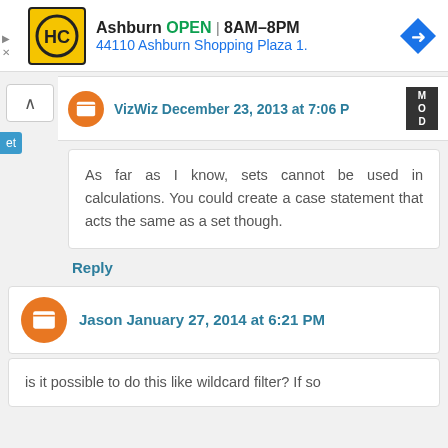[Figure (other): Advertisement banner for HC (hardware/home store) in Ashburn. Logo is a yellow/black circle with HC letters. Text: Ashburn OPEN 8AM-8PM, 44110 Ashburn Shopping Plaza 1. Navigation arrow icon on right.]
VizWiz December 23, 2013 at 7:06 PM [MOD]
As far as I know, sets cannot be used in calculations. You could create a case statement that acts the same as a set though.
Reply
Jason January 27, 2014 at 6:21 PM
is it possible to do this like wildcard filter? If so